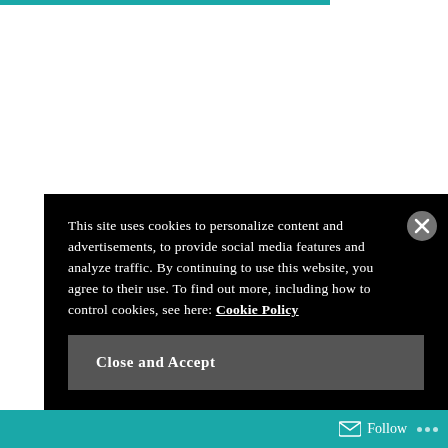This site uses cookies to personalize content and advertisements, to provide social media features and analyze traffic. By continuing to use this website, you agree to their use. To find out more, including how to control cookies, see here: Cookie Policy
Close and Accept
Follow ...